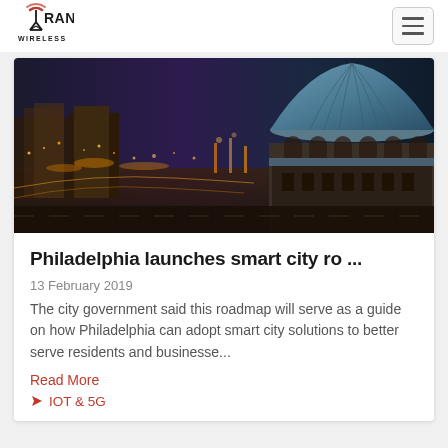[Figure (logo): RAN Wireless logo with radio tower icon and text]
[Figure (photo): Aerial night/dusk photo of Philadelphia city with a large dome building (likely Philadelphia City Hall or museum) prominently on the right, city lights and streets visible]
Philadelphia launches smart city ro ...
13 February 2019
The city government said this roadmap will serve as a guide on how Philadelphia can adopt smart city solutions to better serve residents and businesse...
Read More
IOT & 5G